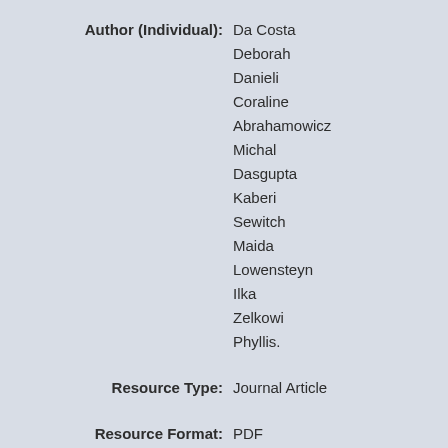Author (Individual): Da Costa Deborah Danieli Coraline Abrahamowicz Michal Dasgupta Kaberi Sewitch Maida Lowensteyn Ilka Zelkowi Phyllis.
Resource Type: Journal Article
Resource Format: PDF
Resource Language: English